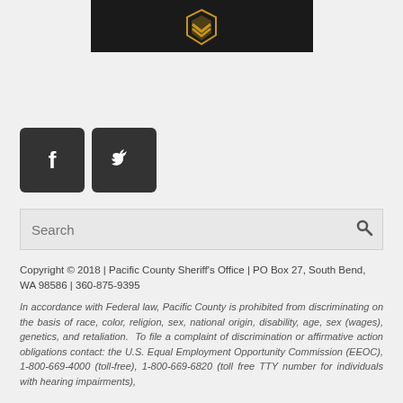[Figure (logo): Pacific County Sheriff's Office badge/logo on dark background]
[Figure (infographic): Facebook and Twitter social media icon buttons (dark square rounded buttons)]
[Figure (screenshot): Search bar with placeholder text 'Search' and magnifying glass icon]
Copyright © 2018 | Pacific County Sheriff's Office | PO Box 27, South Bend, WA 98586 | 360-875-9395
In accordance with Federal law, Pacific County is prohibited from discriminating on the basis of race, color, religion, sex, national origin, disability, age, sex (wages), genetics, and retaliation.  To file a complaint of discrimination or affirmative action obligations contact: the U.S. Equal Employment Opportunity Commission (EEOC), 1-800-669-4000 (toll-free), 1-800-669-6820 (toll free TTY number for individuals with hearing impairments),